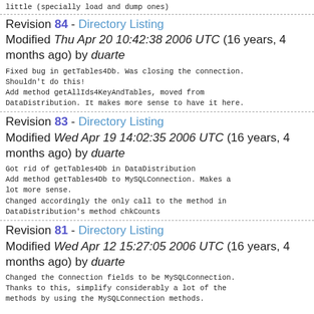little (specially load and dump ones)
Revision 84 - Directory Listing
Modified Thu Apr 20 10:42:38 2006 UTC (16 years, 4 months ago) by duarte
Fixed bug in getTables4Db. Was closing the connection.
Shouldn't do this!
Add method getAllIds4KeyAndTables, moved from
DataDistribution. It makes more sense to have it here.
Revision 83 - Directory Listing
Modified Wed Apr 19 14:02:35 2006 UTC (16 years, 4 months ago) by duarte
Got rid of getTables4Db in DataDistribution
Add method getTables4Db to MySQLConnection. Makes a
lot more sense.
Changed accordingly the only call to the method in
DataDistribution's method chkCounts
Revision 81 - Directory Listing
Modified Wed Apr 12 15:27:05 2006 UTC (16 years, 4 months ago) by duarte
Changed the Connection fields to be MySQLConnection.
Thanks to this, simplify considerably a lot of the
methods by using the MySQLConnection methods.